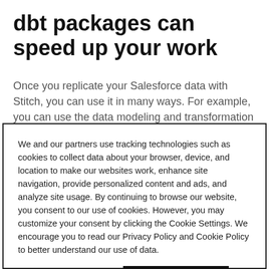dbt packages can speed up your work
Once you replicate your Salesforce data with Stitch, you can use it in many ways. For example, you can use the data modeling and transformation tool dbt to prepare data for reporting, analytics, or machine learning applications.
We and our partners use tracking technologies such as cookies to collect data about your browser, device, and location to make our websites work, enhance site navigation, provide personalized content and ads, and analyze site usage. By continuing to browse our website, you consent to our use of cookies. However, you may customize your consent by clicking the Cookie Settings. We encourage you to read our Privacy Policy and Cookie Policy to better understand our use of data.
Cookie Settings
Accept Cookies